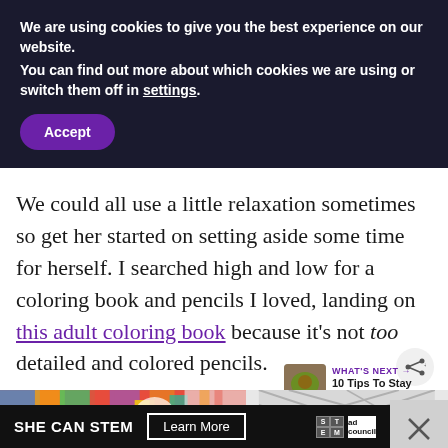We are using cookies to give you the best experience on our website.
You can find out more about which cookies we are using or switch them off in settings.
Accept
We could all use a little relaxation sometimes so get her started on setting aside some time for herself. I searched high and low for a coloring book and pencils I loved, landing on this adult coloring book because it's not too detailed and colored pencils.
WHAT'S NEXT → 10 Tips To Stay Safe...
[Figure (photo): Colorful pencils and coloring book image strip at bottom of page]
SHE CAN STEM   Learn More